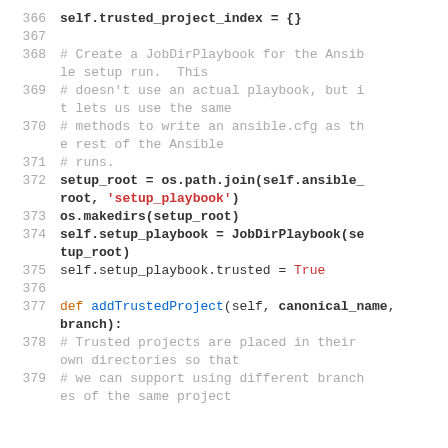Code snippet lines 366-379, Python source code showing trusted_project_index initialization and addTrustedProject method definition